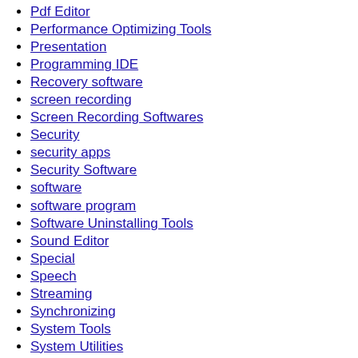Pdf Editor
Performance Optimizing Tools
Presentation
Programming IDE
Recovery software
screen recording
Screen Recording Softwares
Security
security apps
Security Software
software
software program
Software Uninstalling Tools
Sound Editor
Special
Speech
Streaming
Synchronizing
System Tools
System Utilities
Tally ERP 9
Tools
Torrent
UltraEdit
Uncategorized